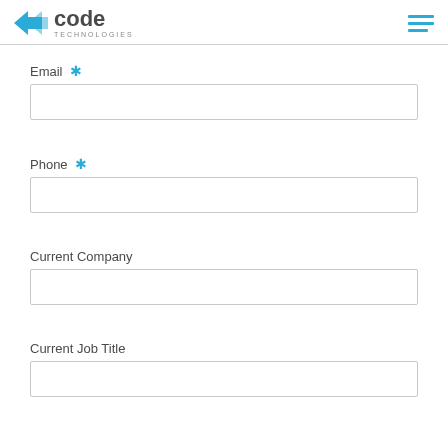2code TECHNOLOGIES
Email *
Phone *
Current Company
Current Job Title